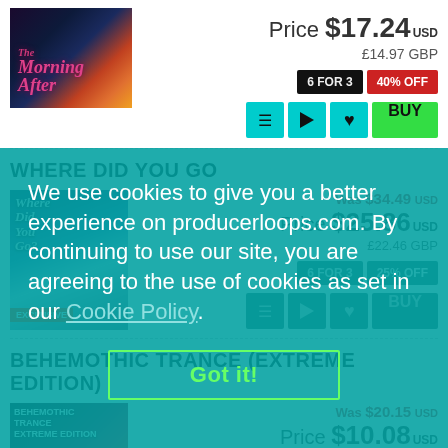[Figure (illustration): Album art for 'The Morning After' — dark background with car silhouette, colorful sunset, pink stylized text]
Price $17.24 USD
£14.97 GBP
6 FOR 3  40% OFF
[Tracklist] [Play] [Favorite] BUY
WHERE DID YOU GO
[Figure (illustration): Album art for 'Where Did You Go?' — blue/icy mountain landscape with figure]
Was $34.49 USD
Price $25.86 USD
£22.46 GBP
6 FOR 3  25% OFF
EXCLUSIVE
We use cookies to give you a better experience on producerloops.com. By continuing to use our site, you are agreeing to the use of cookies as set in our Cookie Policy.
Got it!
BEHEMOTHIC TRANCE (EXTREME EDITION)
[Figure (illustration): Album art for 'Behemothic Trance Extreme Edition' — dark red/orange tones]
Was $20.15 USD
Price $10.08 USD
£8.75 GBP